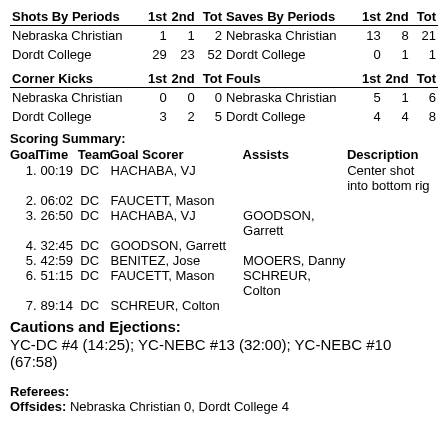| Shots By Periods | 1st | 2nd | Tot |
| --- | --- | --- | --- |
| Nebraska Christian | 1 | 1 | 2 |
| Dordt College | 29 | 23 | 52 |
| Saves By Periods | 1st | 2nd | Tot |
| --- | --- | --- | --- |
| Nebraska Christian | 13 | 8 | 21 |
| Dordt College | 0 | 1 | 1 |
| Corner Kicks | 1st | 2nd | Tot |
| --- | --- | --- | --- |
| Nebraska Christian | 0 | 0 | 0 |
| Dordt College | 3 | 2 | 5 |
| Fouls | 1st | 2nd | Tot |
| --- | --- | --- | --- |
| Nebraska Christian | 5 | 1 | 6 |
| Dordt College | 4 | 4 | 8 |
Scoring Summary:
| Goal | Time | Team | Goal Scorer | Assists | Description |
| --- | --- | --- | --- | --- | --- |
| 1. | 00:19 | DC | HACHABA, VJ |  | Center shot into bottom rig |
| 2. | 06:02 | DC | FAUCETT, Mason |  |  |
| 3. | 26:50 | DC | HACHABA, VJ | GOODSON, Garrett |  |
| 4. | 32:45 | DC | GOODSON, Garrett |  |  |
| 5. | 42:59 | DC | BENITEZ, Jose | MOOERS, Danny |  |
| 6. | 51:15 | DC | FAUCETT, Mason | SCHREUR, Colton |  |
| 7. | 89:14 | DC | SCHREUR, Colton |  |  |
Cautions and Ejections:
YC-DC #4 (14:25); YC-NEBC #13 (32:00); YC-NEBC #10 (67:58)
Referees:
Offsides: Nebraska Christian 0, Dordt College 4